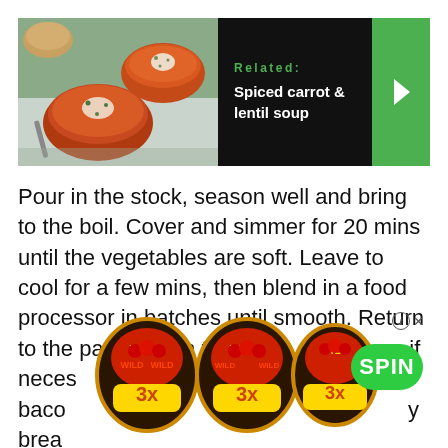[Figure (photo): Related article banner: photo of spiced carrot soup bowls on left, dark background with green 'Related:' label and 'Spiced carrot & lentil soup' text in center, green arrow button on right]
Pour in the stock, season well and bring to the boil. Cover and simmer for 20 mins until the vegetables are soft. Leave to cool for a few mins, then blend in a food processor in batches until smooth. Return to the pan, pour in the [ad overlay] on if neces[sary] [ad overlay] baco[n] [ad overlay] y brea[d]
[Figure (other): Casino advertisement overlay: three Wild Cherry 3x slot machine icons and a green SPIN button, with an info/close button in the top right]